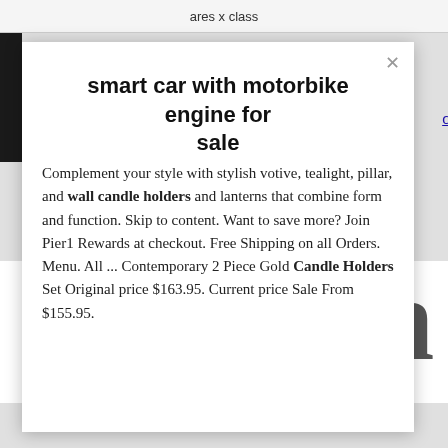ares x class
smart car with motorbike engine for sale
Complement your style with stylish votive, tealight, pillar, and wall candle holders and lanterns that combine form and function. Skip to content. Want to save more? Join Pier1 Rewards at checkout. Free Shipping on all Orders. Menu. All ... Contemporary 2 Piece Gold Candle Holders Set Original price $163.95. Current price Sale From $155.95.
Modern
fixture when faced